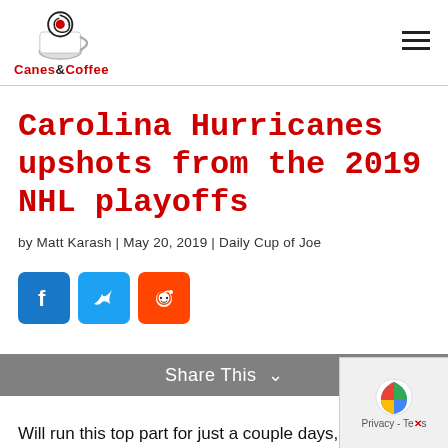Canes & Coffee
Carolina Hurricanes upshots from the 2019 NHL playoffs
by Matt Karash | May 20, 2019 | Daily Cup of Joe
[Figure (other): Social sharing buttons: Facebook, Twitter, Reddit]
Share This
Will run this top part for just a couple days, so